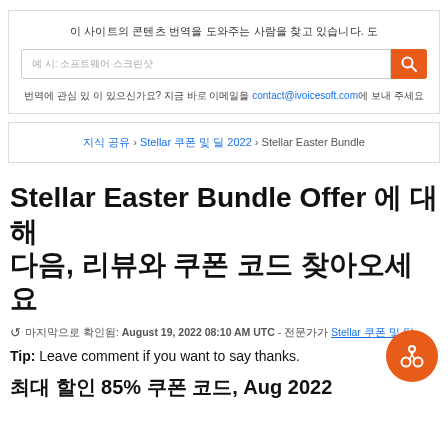이 사이트의 콘텐츠 번역을 도와주는 사람을 찾고 있습니다. 도
예 시: 소프트웨어 스크린샷
번역에 관심 있 이 있으신가요? 지금 바로 이메일을 contact@ivoicesoft.com에 보내 주세요
지식 공유 › Stellar 쿠폰 및 딜 2022 › Stellar Easter Bundle
Stellar Easter Bundle Offer 에 대해 다음, 리뷰와 쿠폰 코드 찾아오세요
마지막으로 확인됨: August 19, 2022 08:10 AM UTC - 전문가가 Stellar 쿠폰 및 딜
Tip: Leave comment if you want to say thanks.
최대 할인 85% 쿠폰 코드, Aug 2022